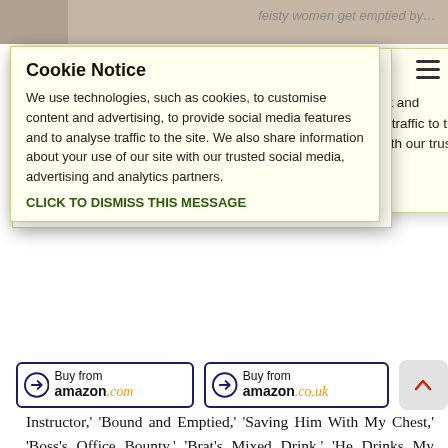feisty women get emptied by…
nen closest to…
ng in hot, steamy
leave you dripping
re.
: 'Doctor's Hucow,'
Maid,' 'Hitchhiker's
And Emptied,' 'Brat's
Instructor,' 'Bound and Emptied,' 'Saving Him With My Chest,' 'Boss's Office Bounty,' 'Brat's Mixed Drink,' 'He Drinks My Shake,' and 'My Forbidden Emptying.'
[Figure (other): Cookie Notice overlay with yellow background. Title: Cookie Notice. Body text: We use technologies, such as cookies, to customise content and advertising, to provide social media features and to analyse traffic to the site. We also share information about your use of our site with our trusted social media, advertising and analytics partners. CLICK TO DISMISS THIS MESSAGE]
The Author / Publisher advised that this title was available for $0.99 (or local equivalent), discounted from $9.99 on 7/9/2022 at the following retailers. These links may use our affiliate tag with Amazon and other retailers and as such may earn us commissions on qualifying purchases.
[Figure (other): Buy from amazon.com button — dark blue border, Amazon arrow logo, text 'Buy from amazon.com' with orange smile underline]
[Figure (other): Buy from amazon.co.uk button — dark blue border, Amazon arrow logo, text 'Buy from amazon.co.uk' with orange smile underline]
[Figure (other): Scroll to top button — light grey rounded square with red chevron/arrow pointing up]